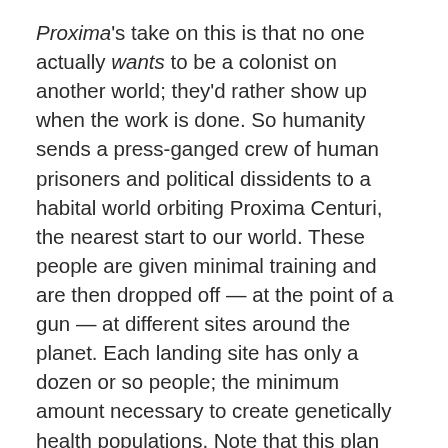Proxima's take on this is that no one actually wants to be a colonist on another world; they'd rather show up when the work is done. So humanity sends a press-ganged crew of human prisoners and political dissidents to a habital world orbiting Proxima Centuri, the nearest start to our world. These people are given minimal training and are then dropped off — at the point of a gun — at different sites around the planet. Each landing site has only a dozen or so people; the minimum amount necessary to create genetically health populations. Note that this plan has a certain amount of inbreeding built into it, which is an unfortunate recurring theme in certain science fiction novels (e.g. the Rama sequels). Thankfully while the novel toys with the concept, it never gets farther than speculation. It's time is better spent on the nature of the Proxima planet itself. Baxter does a good job of exploring the implications of living on a planet that is tidally locked to